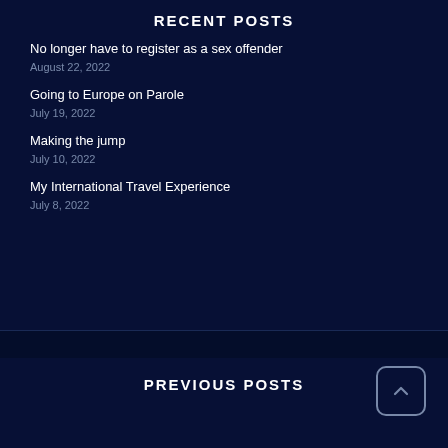RECENT POSTS
No longer have to register as a sex offender
August 22, 2022
Going to Europe on Parole
July 19, 2022
Making the jump
July 10, 2022
My International Travel Experience
July 8, 2022
PREVIOUS POSTS